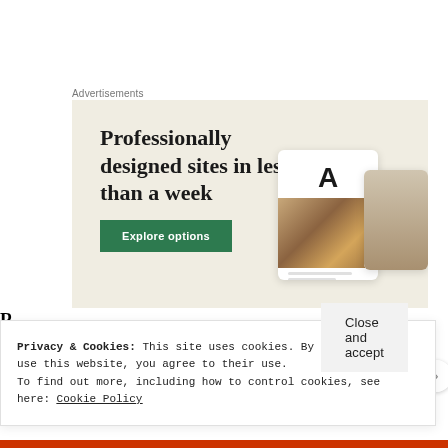Advertisements
[Figure (screenshot): Web hosting advertisement banner with beige/cream background. Headline reads 'Professionally designed sites in less than a week' with a green 'Explore options' button and website mockup screenshots on the right.]
Privacy & Cookies: This site uses cookies. By continuing to use this website, you agree to their use.
To find out more, including how to control cookies, see here: Cookie Policy
Close and accept